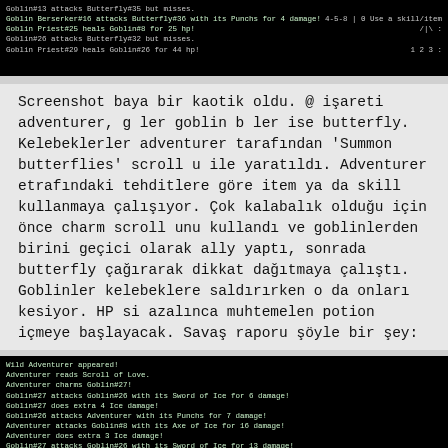[Figure (screenshot): Black terminal screen showing game battle log top portion with UI elements on the right (4-5-8, 0 Use a skill/item, /|\ :, 1 2 3 :) and Enter - Release Control]
Screenshot baya bir kaotik oldu. @ işareti adventurer, g ler goblin b ler ise butterfly. Kelebeklerler adventurer tarafından 'Summon butterflies' scroll u ile yaratıldı. Adventurer etrafındaki tehditlere göre item ya da skill kullanmaya çalışıyor. Çok kalabalık olduğu için önce charm scroll unu kullandı ve goblinlerden birini geçici olarak ally yaptı, sonrada butterfly çağırarak dikkat dağıtmaya çalıştı. Goblinler kelebeklere saldırırken o da onları kesiyor. HP si azalınca muhtemelen potion içmeye başlayacak. Savaş raporu şöyle bir şey:
[Figure (screenshot): Black terminal screen showing game battle log: Wild Adventurer appeared!, Adventurer reads Scroll of Love., Adventurer charms Goblin#27!, Goblin#27 attacks Goblin#26 with its Sword of Ice for 6 damage!, Goblin#27 does extra 4 Ice damage!, Goblin#26 attacks Adventurer with its Punchs for 7 damage!, Adventurer attacks Goblin#8 with its Axe of Ice for 16 damage!, Adventurer does extra 3 Ice damage!, Goblin#27 attacks Goblin#26 with its Sword of Ice for 13 damage!, Goblin#27 does extra 3 Ice damage!, Goblin#26 attacks Adventurer with its Punchs for 9 damage!]